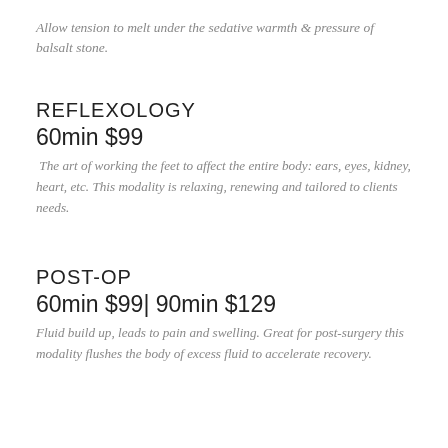Allow tension to melt under the sedative warmth & pressure of balsalt stone.
REFLEXOLOGY
60min $99
The art of working the feet to affect the entire body: ears, eyes, kidney, heart, etc. This modality is relaxing, renewing and tailored to clients needs.
POST-OP
60min $99| 90min $129
Fluid build up, leads to pain and swelling. Great for post-surgery this modality flushes the body of excess fluid to accelerate recovery.